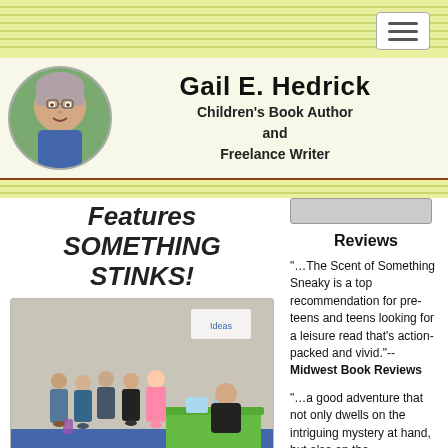Gail E. Hedrick — Children's Book Author and Freelance Writer
Features SOMETHING STINKS!
[Figure (photo): Photo of middle-grade girls at a book signing event at a table with a green tablecloth]
Over three hundred middle-grade girls each received a copy of Something Stinks! as part of their 'Swag Bag' at the Expand Your Horizons Thurston County (WA) STEM Conference. The annual
Reviews
"…The Scent of Something Sneaky is a top recommendation for pre-teens and teens looking for a leisure read that's action-packed and vivid."-- Midwest Book Reviews
"…a good adventure that not only dwells on the intriguing mystery at hand, but also on the